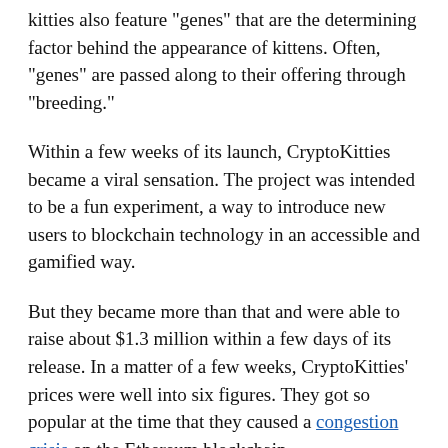kitties also feature "genes" that are the determining factor behind the appearance of kittens. Often, "genes" are passed along to their offering through "breeding."
Within a few weeks of its launch, CryptoKitties became a viral sensation. The project was intended to be a fun experiment, a way to introduce new users to blockchain technology in an accessible and gamified way.
But they became more than that and were able to raise about $1.3 million within a few days of its release. In a matter of a few weeks, CryptoKitties' prices were well into six figures. They got so popular at the time that they caused a congestion crisis on the Ethereum blockchain.
At its height, CryptoKitties attracted over 14,000 active players daily. Today, there are over 2 million kitties with nearly 128,690 wallets engaging with them. Overall, CryptoKitties have recorded 69.4k ETH in trading volume, according to its website.
Over time, the project has also grown beyond just buying and selling these kittens and involves cracking puzzles, creating collections & earning rewards, owning limited edition fancy